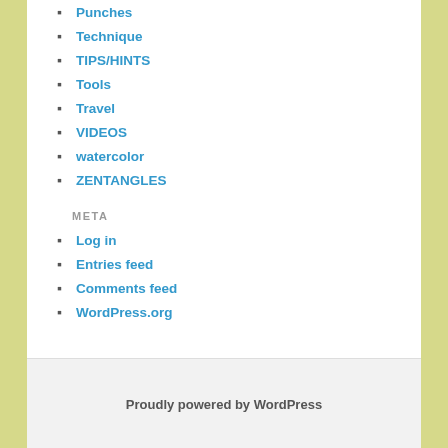Punches
Technique
TIPS/HINTS
Tools
Travel
VIDEOS
watercolor
ZENTANGLES
META
Log in
Entries feed
Comments feed
WordPress.org
Proudly powered by WordPress